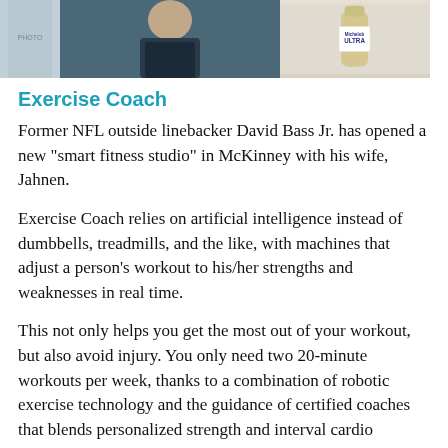[Figure (photo): Three images at top: left shows a partial book/magazine spine, center shows a person (NFL player) in action, right shows a Michelob ULTRA beer bottle.]
Exercise Coach
Former NFL outside linebacker David Bass Jr. has opened a new "smart fitness studio" in McKinney with his wife, Jahnen.
Exercise Coach relies on artificial intelligence instead of dumbbells, treadmills, and the like, with machines that adjust a person's workout to his/her strengths and weaknesses in real time.
This not only helps you get the most out of your workout, but also avoid injury. You only need two 20-minute workouts per week, thanks to a combination of robotic exercise technology and the guidance of certified coaches that blends personalized strength and interval cardio